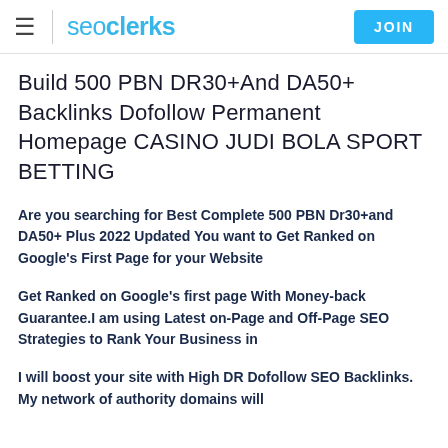seoclerks JOIN
Build 500 PBN DR30+And DA50+ Backlinks Dofollow Permanent Homepage CASINO JUDI BOLA SPORT BETTING
Are you searching for Best Complete 500 PBN Dr30+and DA50+ Plus 2022 Updated You want to Get Ranked on Google's First Page for your Website
Get Ranked on Google's first page With Money-back Guarantee.I am using Latest on-Page and Off-Page SEO Strategies to Rank Your Business in
I will boost your site with High DR Dofollow SEO Backlinks. My network of authority domains will